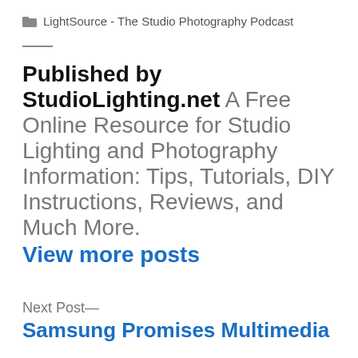LightSource - The Studio Photography Podcast
Published by StudioLighting.net A Free Online Resource for Studio Lighting and Photography Information: Tips, Tutorials, DIY Instructions, Reviews, and Much More.
View more posts
Next Post—
Samsung Promises Multimedia